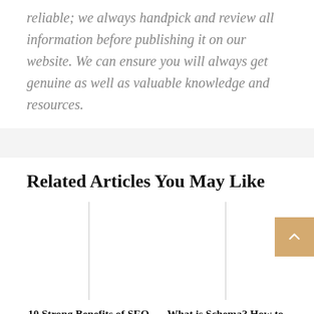reliable; we always handpick and review all information before publishing it on our website. We can ensure you will always get genuine as well as valuable knowledge and resources.
Related Articles You May Like
[Figure (other): Blank white article card image placeholder for '10 Strong Benefits of SEO for Your Business']
10 Strong Benefits of SEO for Your Business
[Figure (other): Blank white article card image placeholder for 'What is Schema? How to Add Schema Markup to Your...']
What is Schema? How to Add Schema Markup to Your...